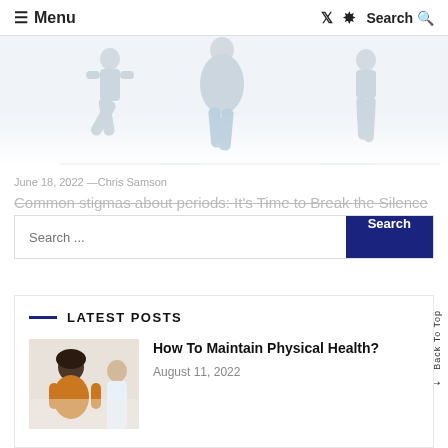≡ Menu  🐦 Pinterest  Search 🔍
[Figure (illustration): Three figures of people doing exercise/yoga poses in light blue-gray tones, cropped at the waist/legs]
June 18, 2022 —Chris Samson
Common stigmas about periods: It's Time to Break the Silence on Periods
[Figure (screenshot): Search bar overlay with text input 'Search ...' and a dark navy 'Search' button]
LATEST POSTS
[Figure (photo): Photo of a woman in an orange/mustard top sitting with a healthcare professional/doctor in what appears to be a clinic setting]
How To Maintain Physical Health?
August 11, 2022